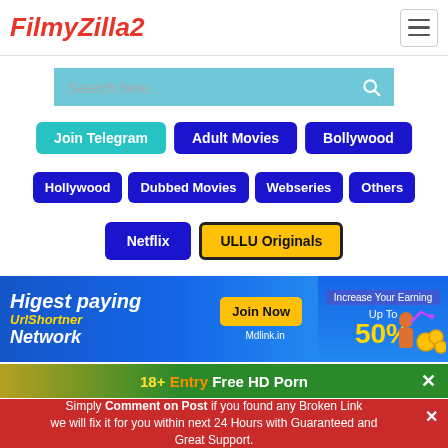FilmyZilla2
Search here..
Join Telegram
Adult Movies
Bollywood
Hollywood
Dubbed Movies
Webseries
Others
Netflix
ULLU Originals
[Figure (infographic): Advertisement banner: Higest paying UrlShortner Network, Join Now button, Increase Your Earning Up To 50%, Mdlink.in]
18+ Entry Free HD Porn
Simply Comment on Post if you found any Broken Link we will fix it for you within next 24 Hours with Guaranteed and Great Support.